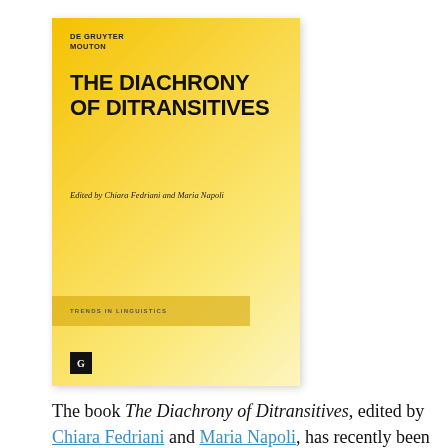[Figure (illustration): Book cover of 'The Diachrony of Ditransitives', published by De Gruyter Mouton. Yellow gradient cover with bold black title, italic editors line 'Edited by Chiara Fedriani and Maria Napoli', 'TRENDS IN LINGUISTICS' series band, and De Gruyter logo at bottom left.]
The book The Diachrony of Ditransitives, edited by Chiara Fedriani and Maria Napoli, has recently been released on Mouton De Gruyter...